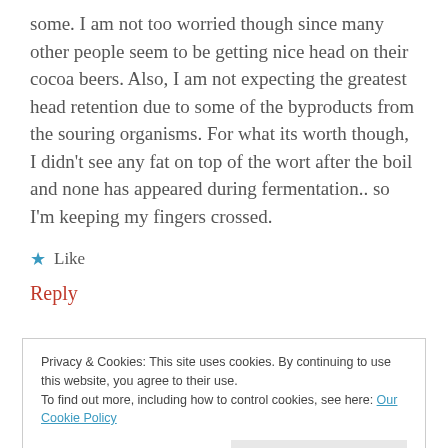some. I am not too worried though since many other people seem to be getting nice head on their cocoa beers. Also, I am not expecting the greatest head retention due to some of the byproducts from the souring organisms. For what its worth though, I didn't see any fat on top of the wort after the boil and none has appeared during fermentation.. so I'm keeping my fingers crossed.
★ Like
Reply
Privacy & Cookies: This site uses cookies. By continuing to use this website, you agree to their use.
To find out more, including how to control cookies, see here: Our Cookie Policy
Close and accept
are marked